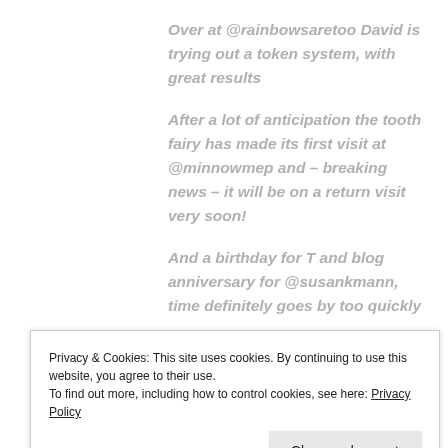Over at @rainbowsaretoo David is trying out a token system, with great results
After a lot of anticipation the tooth fairy has made its first visit at @minnowmep and – breaking news – it will be on a return visit very soon!
And a birthday for T and blog anniversary for @susankmann,  time definitely goes by too quickly
Privacy & Cookies: This site uses cookies. By continuing to use this website, you agree to their use.
To find out more, including how to control cookies, see here: Privacy Policy
Close and accept